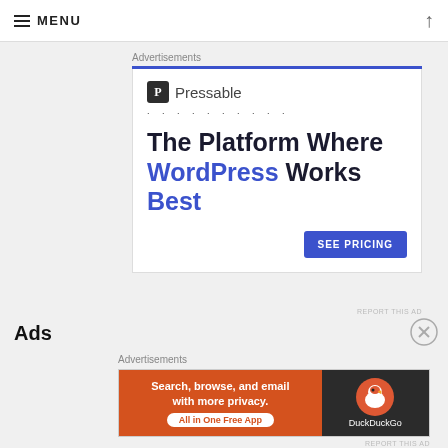≡ MENU
Advertisements
[Figure (screenshot): Pressable hosting advertisement: logo with dotted line decoration, headline 'The Platform Where WordPress Works Best' with WordPress and Best in blue, and a 'SEE PRICING' button]
REPORT THIS AD
Ads
Advertisements
[Figure (screenshot): DuckDuckGo advertisement: orange section with text 'Search, browse, and email with more privacy. All in One Free App' and dark section with DuckDuckGo logo and name]
REPORT THIS AD